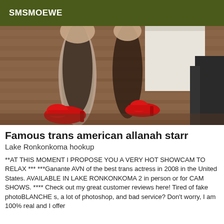SMSMOEWE
[Figure (photo): Close-up photo of legs wearing black stockings and red high heels on a wooden floor with a white furniture piece in background]
Famous trans american allanah starr
Lake Ronkonkoma hookup
**AT THIS MOMENT I PROPOSE YOU A VERY HOT SHOWCAM TO RELAX *** ***Ganante AVN of the best trans actress in 2008 in the United States. AVAILABLE IN LAKE RONKONKOMA 2 in person or for CAM SHOWS. **** Check out my great customer reviews here! Tired of fake photoBLANCHE s, a lot of photoshop, and bad service? Don't worry, I am 100% real and I offer